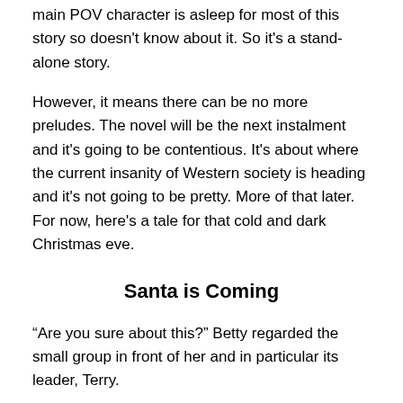main POV character is asleep for most of this story so doesn't know about it. So it's a stand-alone story.
However, it means there can be no more preludes. The novel will be the next instalment and it's going to be contentious. It's about where the current insanity of Western society is heading and it's not going to be pretty. More of that later. For now, here's a tale for that cold and dark Christmas eve.
Santa is Coming
“Are you sure about this?” Betty regarded the small group in front of her and in particular its leader, Terry.
“No.” Terry looked into her eyes. “But we have to try. We can't just leave her there. You know what they'll do to her.”